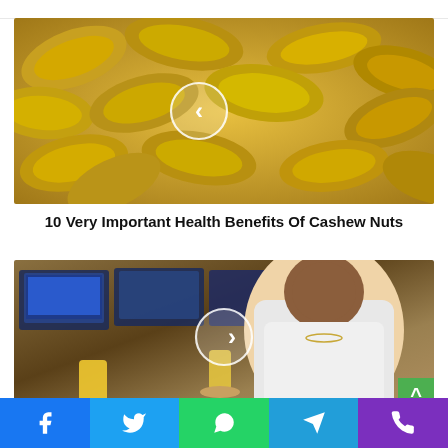[Figure (photo): Close-up photo of golden cashew nuts with a left navigation arrow circle overlay]
10 Very Important Health Benefits Of Cashew Nuts
[Figure (photo): Photo of a man in a white t-shirt sitting at a trading desk with monitors, holding a drink, with a right navigation arrow circle overlay]
[Figure (other): Social sharing bar with Facebook, Twitter, WhatsApp, Telegram, and Phone icons]